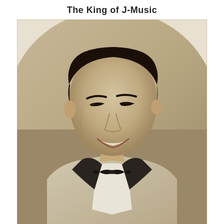The King of J-Music
[Figure (photo): Black and white sepia-toned portrait photograph of a young Asian man smiling, wearing a tuxedo with black lapels and a black bow tie. The photo is a formal portrait style shot from roughly the chest up, with a plain studio background.]